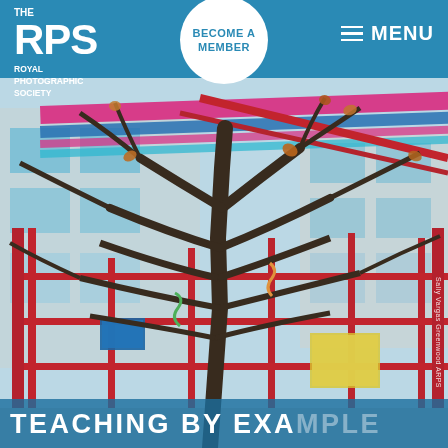THE RPS - ROYAL PHOTOGRAPHIC SOCIETY | BECOME A MEMBER | MENU
[Figure (photo): A bare winter tree in front of a colourful building with red structural grid framework, pink and blue horizontal roof lines, and yellow accents. The image appears to be a multiple-exposure or composite photography showing the tree overlaid with the architectural elements.]
Sally Vargas Greenwood ARPS
TEACHING BY EXA...